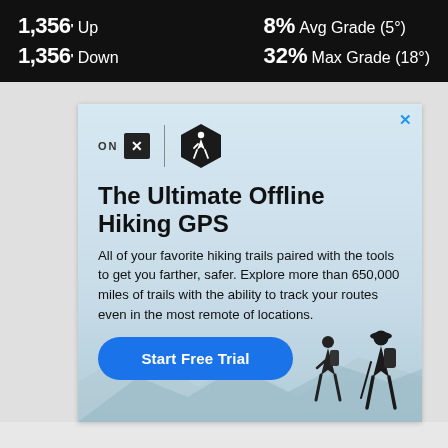1,356' Up   8% Avg Grade (5°)
1,356' Down   32% Max Grade (18°)
[Figure (infographic): onX Hiking app advertisement showing dual logo (ON X + hexagon hiker icon), headline 'The Ultimate Offline Hiking GPS', body text about 650,000 miles of trails, and a 'Start Free Trial' button. Background shows mountain scene with hikers silhouette.]